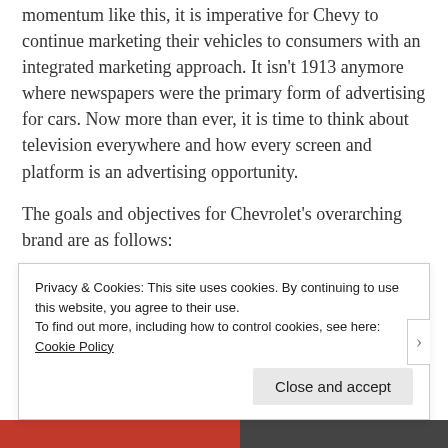momentum like this, it is imperative for Chevy to continue marketing their vehicles to consumers with an integrated marketing approach. It isn't 1913 anymore where newspapers were the primary form of advertising for cars. Now more than ever, it is time to think about television everywhere and how every screen and platform is an advertising opportunity.
The goals and objectives for Chevrolet's overarching brand are as follows:
Goals/Objectives
Privacy & Cookies: This site uses cookies. By continuing to use this website, you agree to their use.
To find out more, including how to control cookies, see here: Cookie Policy